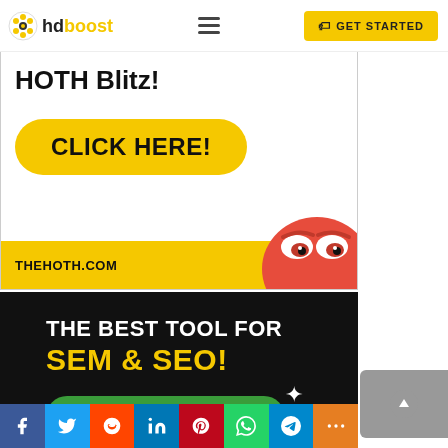[Figure (screenshot): Website navigation bar with hdboost logo, hamburger menu, and yellow GET STARTED button]
[Figure (screenshot): HOTH Blitz advertisement banner with yellow CLICK HERE button and red monster character, showing THEHOTH.COM URL]
[Figure (screenshot): Dark banner ad: THE BEST TOOL FOR SEM & SEO! with green TRY IT NOW FOR FREE button and sparkle icon]
[Figure (screenshot): Social sharing bar with Facebook, Twitter, Reddit, LinkedIn, Pinterest, WhatsApp, Telegram, and More buttons]